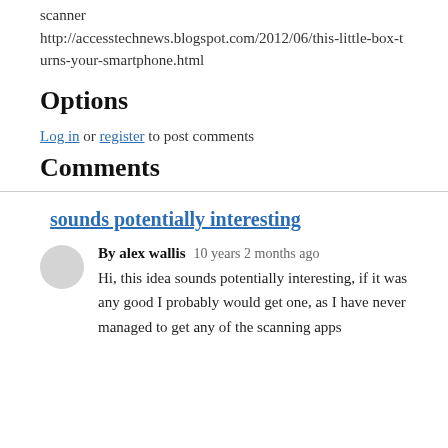scanner http://accesstechnews.blogspot.com/2012/06/this-little-box-turns-your-smartphone.html
Options
Log in or register to post comments
Comments
sounds potentially interesting
By alex wallis   10 years 2 months ago
Hi, this idea sounds potentially interesting, if it was any good I probably would get one, as I have never managed to get any of the scanning apps